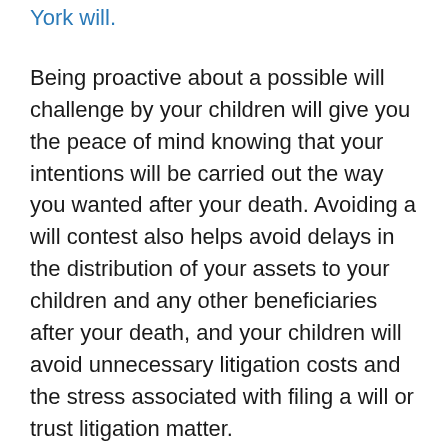York will.
Being proactive about a possible will challenge by your children will give you the peace of mind knowing that your intentions will be carried out the way you wanted after your death. Avoiding a will contest also helps avoid delays in the distribution of your assets to your children and any other beneficiaries after your death, and your children will avoid unnecessary litigation costs and the stress associated with filing a will or trust litigation matter.
In order to be successful in a will or trust contest, the person making the challenge must be able to prove that a New York will or trust was improperly signed, the parent was not of sound mind, was